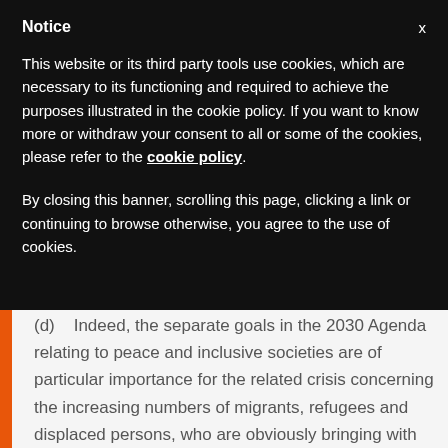Notice
This website or its third party tools use cookies, which are necessary to its functioning and required to achieve the purposes illustrated in the cookie policy. If you want to know more or withdraw your consent to all or some of the cookies, please refer to the cookie policy.
By closing this banner, scrolling this page, clicking a link or continuing to browse otherwise, you agree to the use of cookies.
(d)    Indeed, the separate goals in the 2030 Agenda relating to peace and inclusive societies are of particular importance for the related crisis concerning the increasing numbers of migrants, refugees and displaced persons, who are obviously bringing with them various religious traditions.